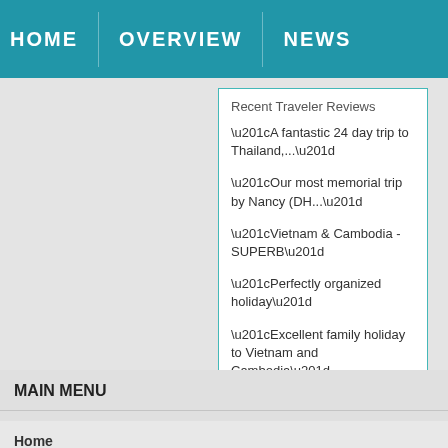HOME   OVERVIEW   NEWS
Recent Traveler Reviews
“A fantastic 24 day trip to Thailand,...”
“Our most memorial trip by Nancy (DH...”
“Vietnam & Cambodia - SUPERB”
“Perfectly organized holiday”
“Excellent family holiday to Vietnam and Cambodia”
Read reviews   |   Write a review
MAIN MENU
Home
Travel News
Vietnam Overview